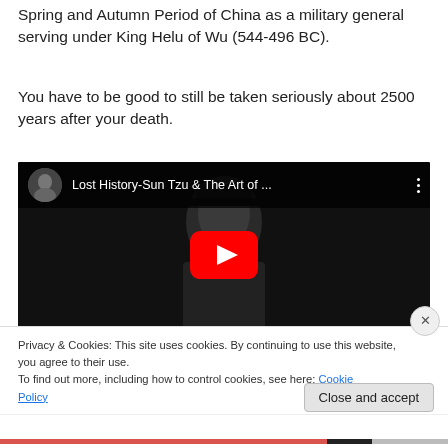Spring and Autumn Period of China as a military general serving under King Helu of Wu (544-496 BC).
You have to be good to still be taken seriously about 2500 years after your death.
[Figure (screenshot): YouTube video thumbnail showing 'Lost History-Sun Tzu & The Art of ...' with a play button overlay. Background shows a black and white illustration of Sun Tzu. The top bar shows a channel avatar and the video title.]
Privacy & Cookies: This site uses cookies. By continuing to use this website, you agree to their use.
To find out more, including how to control cookies, see here: Cookie Policy